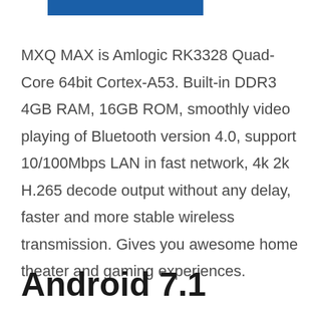[Figure (other): Blue rectangular button or banner element, partially visible at top of page]
MXQ MAX is Amlogic RK3328 Quad-Core 64bit Cortex-A53. Built-in DDR3 4GB RAM, 16GB ROM, smoothly video playing of Bluetooth version 4.0, support 10/100Mbps LAN in fast network, 4k 2k H.265 decode output without any delay, faster and more stable wireless transmission. Gives you awesome home theater and gaming experiences.
Android 7.1